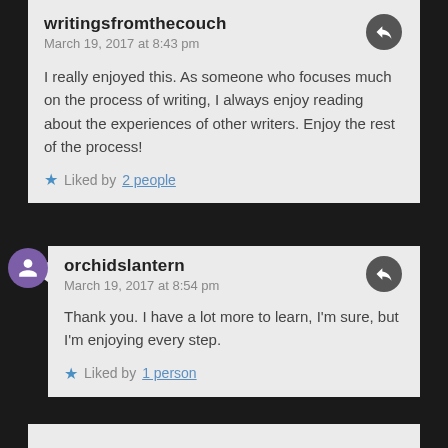writingsfromthecouch
March 19, 2017 at 8:43 pm

I really enjoyed this. As someone who focuses much on the process of writing, I always enjoy reading about the experiences of other writers. Enjoy the rest of the process!

Liked by 2 people
orchidslantern
March 19, 2017 at 8:54 pm

Thank you. I have a lot more to learn, I'm sure, but I'm enjoying every step.

Liked by 1 person